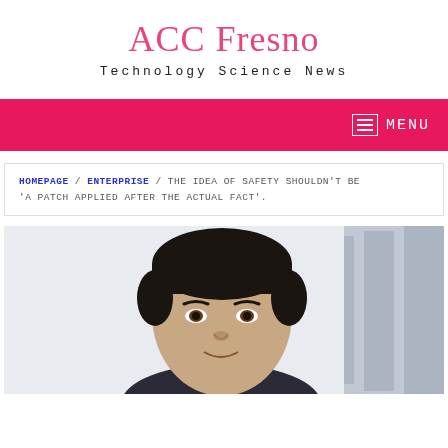ACC Fresno
Technology Science News
HOMEPAGE / ENTERPRISE / THE IDEA OF SAFETY SHOULDN'T BE 'A PATCH APPLIED AFTER THE ACTUAL FACT'.
[Figure (photo): Close-up portrait photo of a man with dark short hair, looking forward, against a light background with a blurred building structure visible on the right side.]